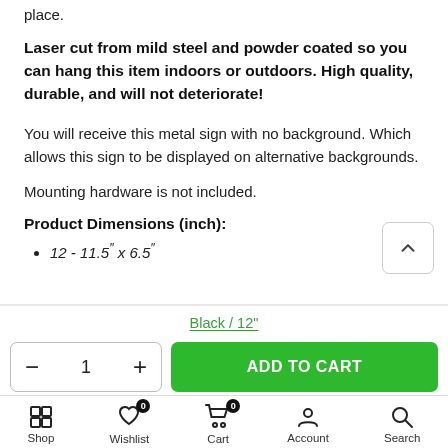place.
Laser cut from mild steel and powder coated so you can hang this item indoors or outdoors. High quality, durable, and will not deteriorate!
You will receive this metal sign with no background. Which allows this sign to be displayed on alternative backgrounds.
Mounting hardware is not included.
Product Dimensions (inch):
12 - 11.5″ x 6.5″
Black / 12"
ADD TO CART